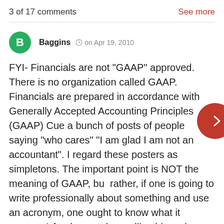3 of 17 comments   See more
Baggins  on Apr 19, 2010
FYI- Financials are not "GAAP" approved. There is no organization called GAAP. Financials are prepared in accordance with Generally Accepted Accounting Principles (GAAP) Cue a bunch of posts of people saying "who cares" "I am glad I am not an accountant". I regard these posters as simpletons. The important point is NOT the meaning of GAAP, but rather, if one is going to write professionally about something and use an acronym, one ought to know what it means. A fundamental error like this makes the writer look out of his depth.